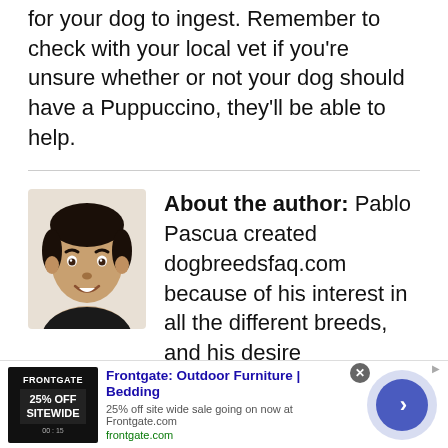for your dog to ingest. Remember to check with your local vet if you're unsure whether or not your dog should have a Puppuccino, they'll be able to help.
[Figure (photo): Headshot photo of Pablo Pascua, a young man smiling, with dark hair, against a neutral background]
About the author: Pablo Pascua created dogbreedsfaq.com because of his interest in all the different breeds, and his desire to learn more. His inspiration comes from the many dogs he has owned throughout his life.
[Figure (screenshot): Advertisement banner for Frontgate: Outdoor Furniture | Bedding. 25% off site wide sale going on now at Frontgate.com. frontgate.com]